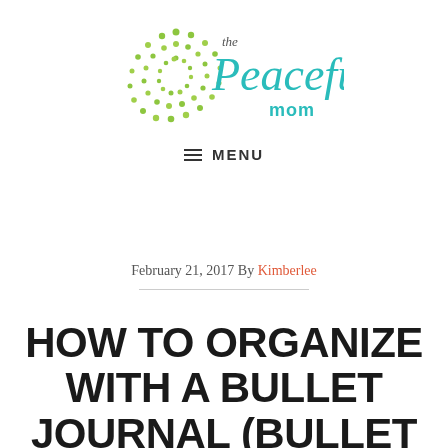[Figure (logo): The Peaceful Mom logo with green starburst/flower and teal script text]
≡ MENU
February 21, 2017 By Kimberlee
HOW TO ORGANIZE WITH A BULLET JOURNAL (BULLET